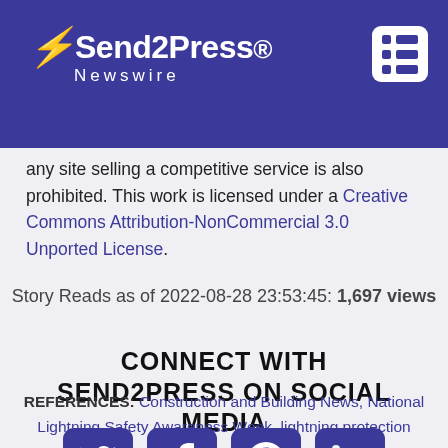Send2Press Newswire
any site selling a competitive service is also prohibited. This work is licensed under a Creative Commons Attribution-NonCommercial 3.0 Unported License.
Story Reads as of 2022-08-28 23:53:45: 1,697 views
CONNECT WITH SEND2PRESS ON SOCIAL MEDIA
[Figure (infographic): Four social media icon buttons: Twitter, Facebook, Pinterest, LinkedIn, all in dark blue/indigo rounded square icons]
REFERENCES: Construction and Building News, National Lightning Safety Awareness Week, lightning protection